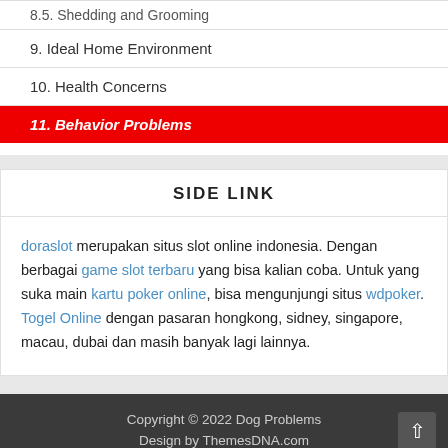8.5. Shedding and Grooming
9. Ideal Home Environment
10. Health Concerns
11. Behavior Problems
SIDE LINK
doraslot merupakan situs slot online indonesia. Dengan berbagai game slot terbaru yang bisa kalian coba. Untuk yang suka main kartu poker online, bisa mengunjungi situs wdpoker. Togel Online dengan pasaran hongkong, sidney, singapore, macau, dubai dan masih banyak lagi lainnya.
Copyright © 2022 Dog Problems
Design by ThemesDNA.com